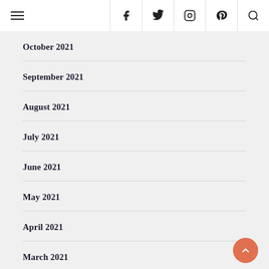Navigation bar with hamburger menu and social icons
October 2021
September 2021
August 2021
July 2021
June 2021
May 2021
April 2021
March 2021
February 2021